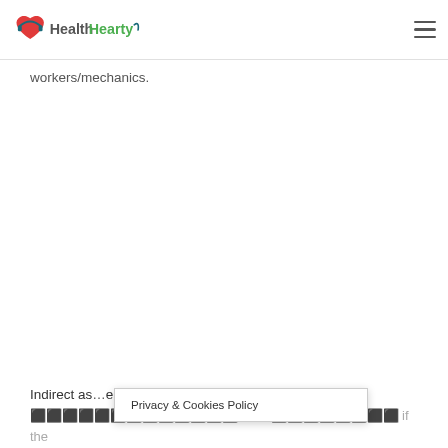HealthHearty
workers/mechanics.
Indirect as… ens when the person
Privacy & Cookies Policy